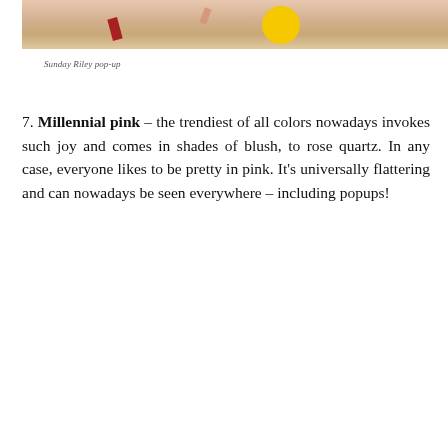[Figure (photo): Top portion of a Sunday Riley pop-up display photo showing skin tones with colorful geometric shapes including a yellow circle and red shape]
Sunday Riley pop-up
7. Millennial pink – the trendiest of all colors nowadays invokes such joy and comes in shades of blush, to rose quartz. In any case, everyone likes to be pretty in pink. It's universally flattering and can nowadays be seen everywhere – including popups!
[Figure (photo): Pink background photo, part of millennial pink themed popup display, with dark object at the bottom]